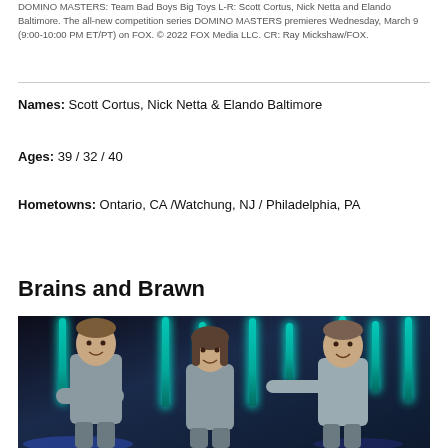DOMINO MASTERS: Team Bad Boys Big Toys L-R: Scott Cortus, Nick Netta and Elando Baltimore. The all-new competition series DOMINO MASTERS premieres Wednesday, March 9 (9:00-10:00 PM ET/PT) on FOX. © 2022 FOX Media LLC. CR: Ray Mickshaw/FOX.
Names: Scott Cortus, Nick Netta & Elando Baltimore
Ages: 39 / 32 / 40
Hometowns: Ontario, CA /Watchung, NJ / Philadelphia, PA
Brains and Brawn
[Figure (photo): Three people wearing grey shirts posing in front of a dark background with vertical teal/cyan light bars. Two men flank a woman in the center. Blue stage lighting on the floor.]